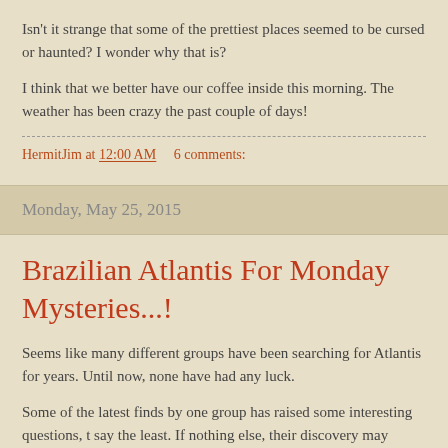Isn't it strange that some of the prettiest places seemed to be cursed or haunted? I wonder why that is?
I think that we better have our coffee inside this morning. The weather has been crazy the past couple of days!
HermitJim at 12:00 AM    6 comments:
Monday, May 25, 2015
Brazilian Atlantis For Monday Mysteries...!
Seems like many different groups have been searching for Atlantis for years. Until now, none have had any luck.
Some of the latest finds by one group has raised some interesting questions, t say the least. If nothing else, their discovery may create as many questions as it answers